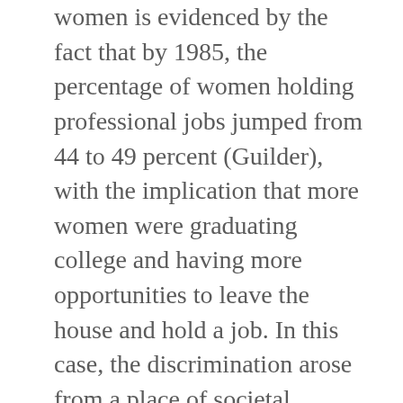women is evidenced by the fact that by 1985, the percentage of women holding professional jobs jumped from 44 to 49 percent (Guilder), with the implication that more women were graduating college and having more opportunities to leave the house and hold a job. In this case, the discrimination arose from a place of societal expectations, such that the average expectation for an American woman involved becoming a mother. Furthermore, studies in the 80s demonstrate that success rates of single men and women in the workforce become a distance of